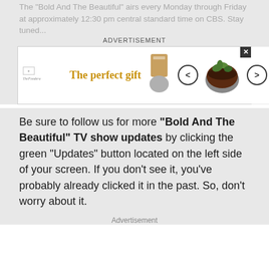The 'Bold And The Beautiful' airs every Monday through Friday at approximately 12:30 pm central standard time on CBS. Stay tuned...
[Figure (infographic): Advertisement banner for a cooking/kitchen gift product. Shows 'The perfect gift' tagline in gold, navigation arrows, a dark bowl with greens, and a gold panel reading '35% OFF + FREE SHIPPING'. Has close button.]
Be sure to follow us for more "Bold And The Beautiful" TV show updates by clicking the green "Updates" button located on the left side of your screen. If you don't see it, you've probably already clicked it in the past. So, don't worry about it.
Advertisement